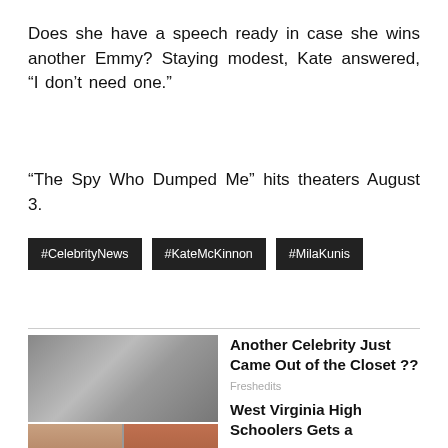Does she have a speech ready in case she wins another Emmy? Staying modest, Kate answered, “I don’t need one.”
“The Spy Who Dumped Me” hits theaters August 3.
#CelebrityNews
#KateMcKinnon
#MilaKunis
[Figure (photo): Black and white photo of two women kissing]
Another Celebrity Just Came Out of the Closet ??
Freshedits
[Figure (photo): Two photos of redheaded women side by side]
West Virginia High Schoolers Gets a